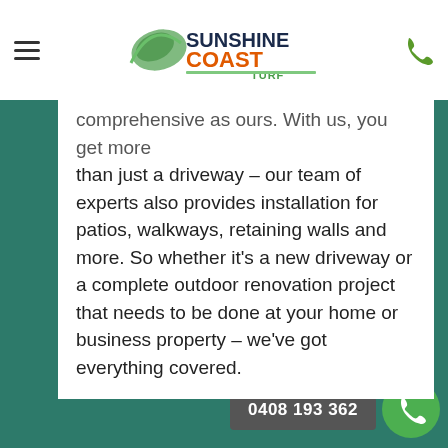Sunshine Coast Turf
comprehensive as ours. With us, you get more than just a driveway – our team of experts also provides installation for patios, walkways, retaining walls and more. So whether it's a new driveway or a complete outdoor renovation project that needs to be done at your home or business property – we've got everything covered.
0408 193 362